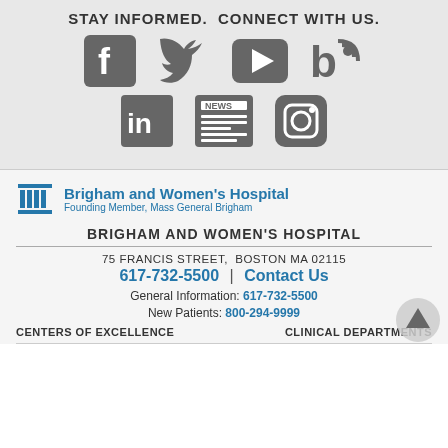STAY INFORMED.  CONNECT WITH US.
[Figure (illustration): Row of social media icons: Facebook, Twitter, YouTube, Blog/RSS; second row: LinkedIn, News, Instagram]
[Figure (logo): Brigham and Women's Hospital logo with columns icon, main name in bold blue, subtitle 'Founding Member, Mass General Brigham' in lighter blue]
BRIGHAM AND WOMEN'S HOSPITAL
75 FRANCIS STREET,  BOSTON MA 02115
617-732-5500 | Contact Us
General Information: 617-732-5500
New Patients: 800-294-9999
CENTERS OF EXCELLENCE
CLINICAL DEPARTMENTS